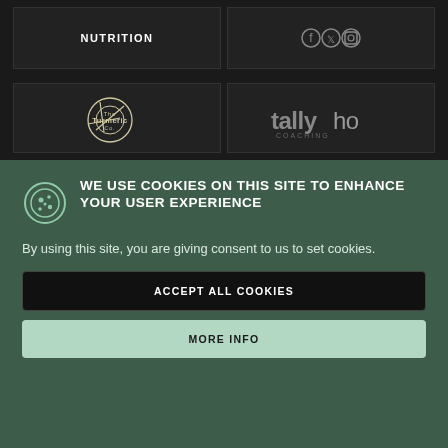[Figure (logo): NUTRITION logo in white bold uppercase text on dark background]
[Figure (logo): Three social media icons on dark background]
[Figure (logo): The Turmeric Co. circular logo with camera aperture design on dark background]
[Figure (logo): tallyho coaching logo in gray on dark background]
WE USE COOKIES ON THIS SITE TO ENHANCE YOUR USER EXPERIENCE
By using this site, you are giving consent to us to set cookies.
ACCEPT ALL COOKIES
MORE INFO